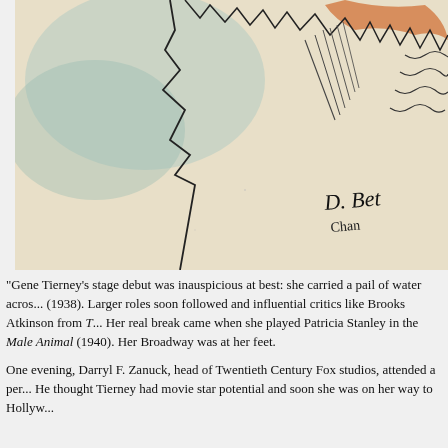[Figure (illustration): A cropped illustration on aged parchment-colored paper showing gestural ink drawings — diagonal lines suggesting feathers or grass, jagged mountain-like outlines, wavy lines, and in the lower right a handwritten signature reading 'D. BET...' with 'CHAN' below it. Colors include blue-green washes, orange/coral, and black ink lines.]
"Gene Tierney's stage debut was inauspicious at best: she carried a pail of water acros... (1938). Larger roles soon followed and influential critics like Brooks Atkinson from T... Her real break came when she played Patricia Stanley in the Male Animal (1940). Her Broadway was at her feet.
One evening, Darryl F. Zanuck, head of Twentieth Century Fox studios, attended a per... He thought Tierney had movie star potential and soon she was on her way to Hollyw...